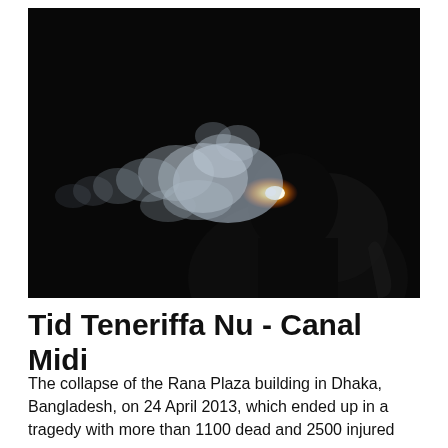[Figure (photo): Dark photograph of a person's silhouette exhaling smoke against a black background, with a glowing orange and white ember visible and wispy smoke curling to the left.]
Tid Teneriffa Nu - Canal Midi
The collapse of the Rana Plaza building in Dhaka, Bangladesh, on 24 April 2013, which ended up in a tragedy with more than 1100 dead and 2500 injured